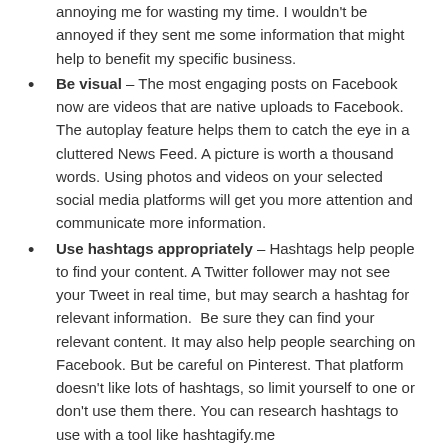annoying me for wasting my time. I wouldn't be annoyed if they sent me some information that might help to benefit my specific business.
Be visual – The most engaging posts on Facebook now are videos that are native uploads to Facebook. The autoplay feature helps them to catch the eye in a cluttered News Feed. A picture is worth a thousand words. Using photos and videos on your selected social media platforms will get you more attention and communicate more information.
Use hashtags appropriately – Hashtags help people to find your content. A Twitter follower may not see your Tweet in real time, but may search a hashtag for relevant information.  Be sure they can find your relevant content. It may also help people searching on Facebook. But be careful on Pinterest. That platform doesn't like lots of hashtags, so limit yourself to one or don't use them there. You can research hashtags to use with a tool like hashtagify.me
Make it easy to get more information – If your audience is engaged and wants to find out more about your goods and services, ensure that's easy